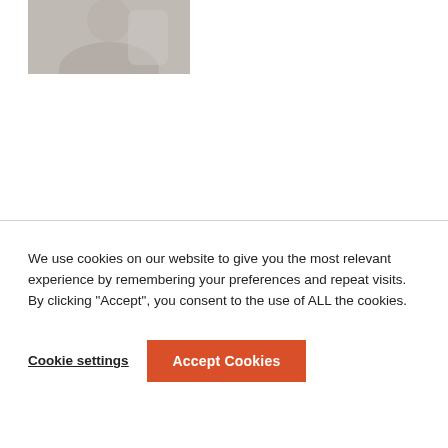[Figure (photo): Partial photo of a person, muted grey-beige tones, cropped at top of page]
We use cookies on our website to give you the most relevant experience by remembering your preferences and repeat visits. By clicking “Accept”, you consent to the use of ALL the cookies.
Cookie settings
Accept Cookies